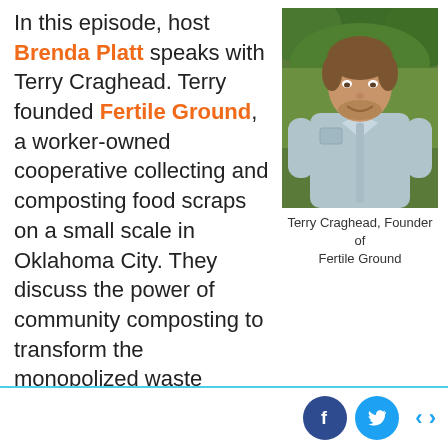In this episode, host Brenda Platt speaks with Terry Craghead. Terry founded Fertile Ground, a worker-owned cooperative collecting and composting food scraps on a small scale in Oklahoma City. They discuss the power of community composting to transform the monopolized waste system and build up the local economy by reducing food waste, creating jobs, and combatting climate change.
[Figure (photo): Portrait photo of Terry Craghead, a man in a light blue button-up shirt standing outdoors in front of green trees]
Terry Craghead, Founder of Fertile Ground